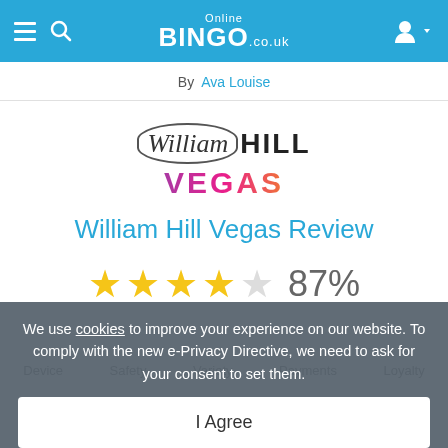Online BINGO.co.uk
By Ava Louise
[Figure (logo): William Hill Vegas logo with italic script 'William' in oval border and bold 'HILL' text, plus gradient 'VEGAS' text below]
William Hill Vegas Review
★★★★☆ 87%
We use cookies to improve your experience on our website. To comply with the new e-Privacy Directive, we need to ask for your consent to set them.
I Agree